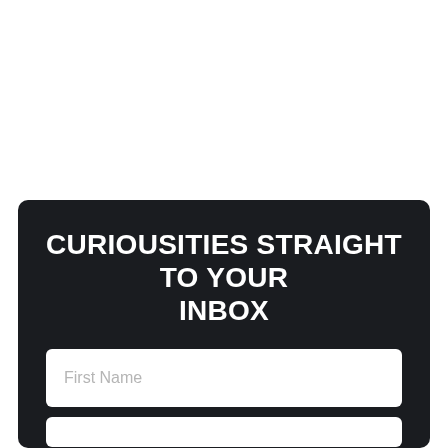CURIOUSITIES STRAIGHT TO YOUR INBOX
First Name